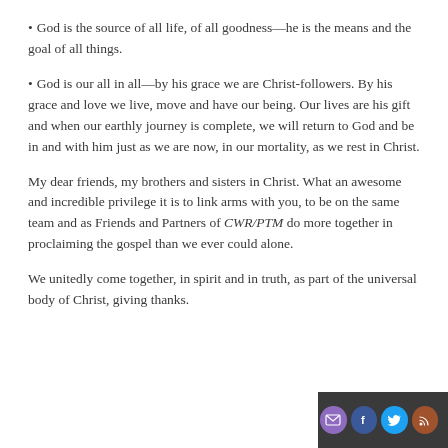God is the source of all life, of all goodness—he is the means and the goal of all things.
God is our all in all—by his grace we are Christ-followers. By his grace and love we live, move and have our being. Our lives are his gift and when our earthly journey is complete, we will return to God and be in and with him just as we are now, in our mortality, as we rest in Christ.
My dear friends, my brothers and sisters in Christ. What an awesome and incredible privilege it is to link arms with you, to be on the same team and as Friends and Partners of CWR/PTM do more together in proclaiming the gospel than we ever could alone.
We unitedly come together, in spirit and in truth, as part of the universal body of Christ, giving thanks.